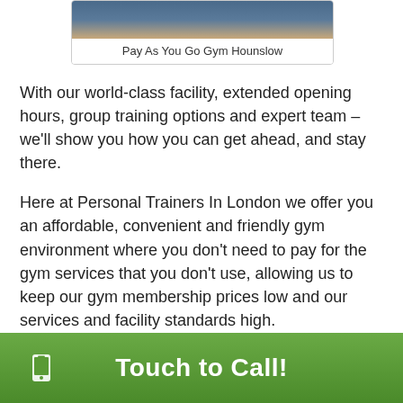[Figure (photo): Partial image of a person showing midsection/torso in a gym setting, cropped at the top]
Pay As You Go Gym Hounslow
With our world-class facility, extended opening hours, group training options and expert team – we'll show you how you can get ahead, and stay there.
Here at Personal Trainers In London we offer you an affordable, convenient and friendly gym environment where you don't need to pay for the gym services that you don't use, allowing us to keep our gym membership prices low and our services and facility standards high.
Our friendly staff care about creating a comfortable friendly community-based environment for you and will support you in your fitness journey. Our Personal Trainers care about your goals as much as you do and always deliver an excellent service.
Touch to Call!